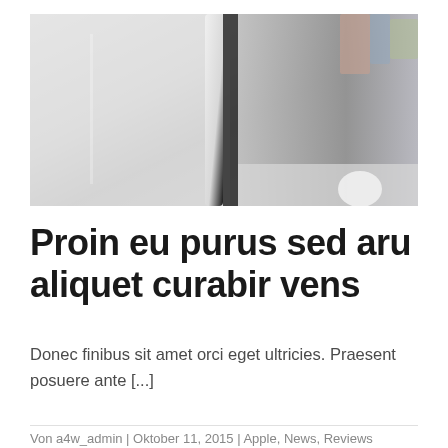[Figure (photo): Close-up photo of an iMac or computer monitor edge with a blurred desk setup and accessories in the background, light gray and white tones]
Proin eu purus sed aru aliquet curabir vens
Donec finibus sit amet orci eget ultricies. Praesent posuere ante [...]
Von a4w_admin | Oktober 11, 2015 | Apple, News, Reviews